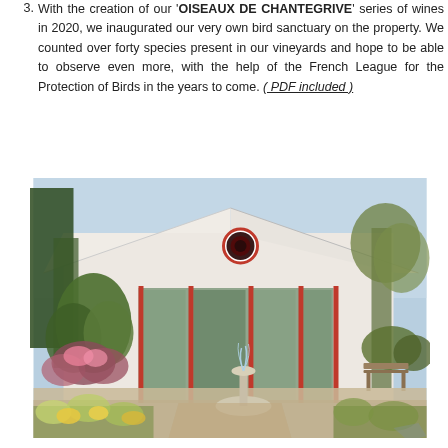3. With the creation of our 'OISEAUX DE CHANTEGRIVE' series of wines in 2020, we inaugurated our very own bird sanctuary on the property. We counted over forty species present in our vineyards and hope to be able to observe even more, with the help of the French League for the Protection of Birds in the years to come. ( PDF included )
[Figure (photo): Exterior view of a winery building with a peaked white roof, round porthole window with red frame, large glass facade with red frames, a fountain in the foreground, surrounded by flowering garden plants and trees.]